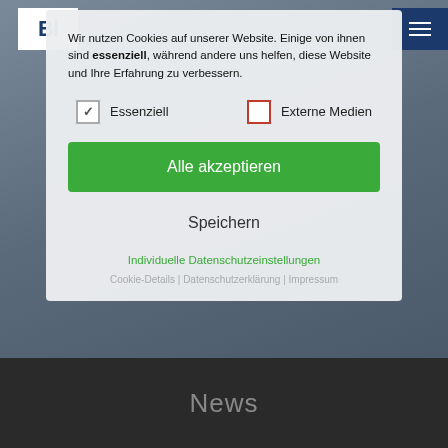[Figure (screenshot): Website background showing industrial metal parts (machined plates with holes) on a dark blue-grey surface. A logo 'Bl...' is partially visible in top-left. Navigation hamburger menu in dark blue top-right.]
Wir nutzen Cookies auf unserer Website. Einige von ihnen sind essenziell, während andere uns helfen, diese Website und Ihre Erfahrung zu verbessern.
Essenziell
Externe Medien
Alle akzeptieren
Speichern
Individuelle Datenschutzeinstellungen
Cookie-Details | Datenschutzerklärung | Impressum
News